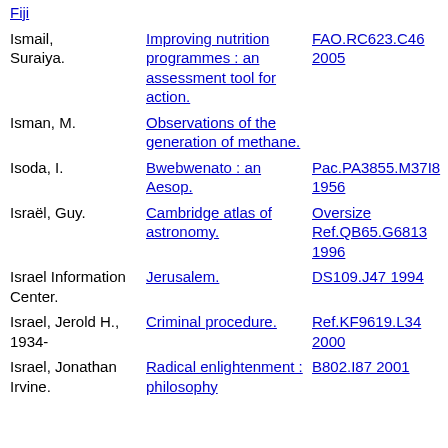| Fiji (link) |  |  |  |
| Ismail, Suraiya. | Improving nutrition programmes : an assessment tool for action. | FAO.RC623.C46 2005 | IN |
| Isman, M. | Observations of the generation of methane. |  |  |
| Isoda, I. | Bwebwenato : an Aesop. | Pac.PA3855.M37I8 1956 | IN |
| Israël, Guy. | Cambridge atlas of astronomy. | Oversize Ref.QB65.G6813 1996 | IN |
| Israel Information Center. | Jerusalem. | DS109.J47 1994 | IN |
| Israel, Jerold H., 1934- | Criminal procedure. | Ref.KF9619.L34 2000 | IN |
| Israel, Jonathan Irvine. | Radical enlightenment : philosophy | B802.I87 2001 | IN |